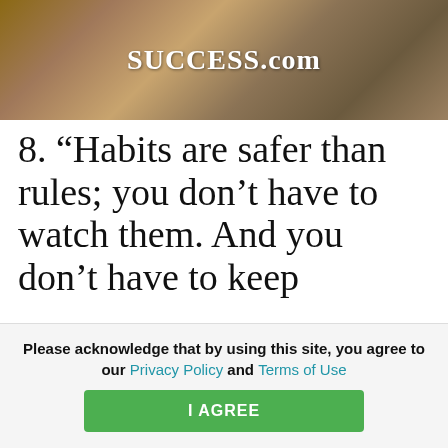[Figure (photo): Brown earthy/animal background image with SUCCESS.com logo text overlaid in white]
8. “Habits are safer than rules; you don’t have to watch them. And you don’t have to keep
This website stores cookies on your computer. These cookies are used to improve your website experience and provide more personalized services to you, both on this website and through other media. To find out more about the cookies we use, see our Privacy Policy.
We won’t track your information when you visit our site. But in order to comply with your
Please acknowledge that by using this site, you agree to our Privacy Policy and Terms of Use
I AGREE